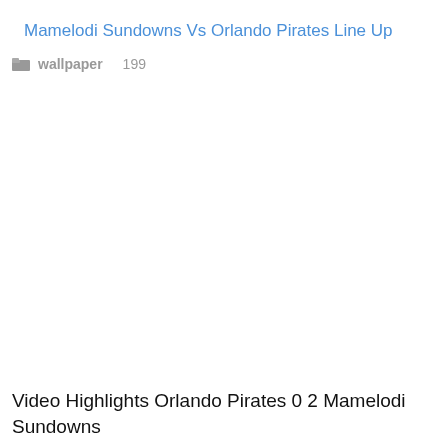Mamelodi Sundowns Vs Orlando Pirates Line Up
wallpaper   199
[Figure (other): Blank white space placeholder for an image]
Video Highlights Orlando Pirates 0 2 Mamelodi Sundowns
Read More »